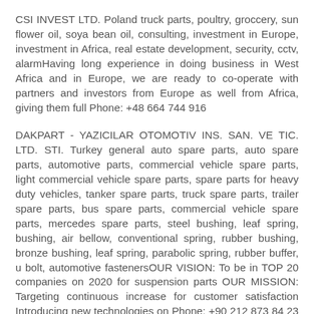CSI INVEST LTD. Poland truck parts, poultry, groccery, sun flower oil, soya bean oil, consulting, investment in Europe, investment in Africa, real estate development, security, cctv, alarmHaving long experience in doing business in West Africa and in Europe, we are ready to co-operate with partners and investors from Europe as well from Africa, giving them full Phone: +48 664 744 916
DAKPART - YAZICILAR OTOMOTIV INS. SAN. VE TIC. LTD. STI. Turkey general auto spare parts, auto spare parts, automotive parts, commercial vehicle spare parts, light commercial vehicle spare parts, spare parts for heavy duty vehicles, tanker spare parts, truck spare parts, trailer spare parts, bus spare parts, commercial vehicle spare parts, mercedes spare parts, steel bushing, leaf spring, bushing, air bellow, conventional spring, rubber bushing, bronze bushing, leaf spring, parabolic spring, rubber buffer, u bolt, automotive fastenersOUR VISION: To be in TOP 20 companies on 2020 for suspension parts OUR MISSION: Targeting continuous increase for customer satisfaction Introducing new technologies on Phone: +90 212 873 84 23 Address: Birlik